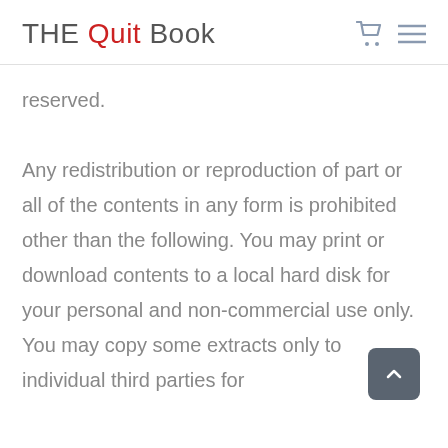THE Quit Book
reserved.

Any redistribution or reproduction of part or all of the contents in any form is prohibited other than the following. You may print or download contents to a local hard disk for your personal and non-commercial use only. You may copy some extracts only to individual third parties for